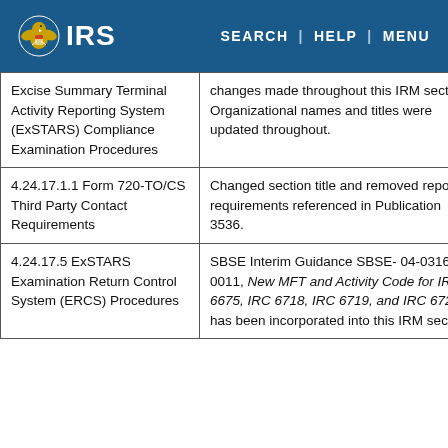IRS | SEARCH | HELP | MENU
| Excise Summary Terminal Activity Reporting System (ExSTARS) Compliance Examination Procedures | changes made throughout this IRM section. Organizational names and titles were updated throughout. |
| 4.24.17.1.1 Form 720-TO/CS Third Party Contact Requirements | Changed section title and removed reporting requirements referenced in Publication 3536. |
| 4.24.17.5 ExSTARS Examination Return Control System (ERCS) Procedures | SBSE Interim Guidance SBSE-04-0316-0011, New MFT and Activity Code for IRC 6675, IRC 6718, IRC 6719, and IRC 6725 has been incorporated into this IRM section. |